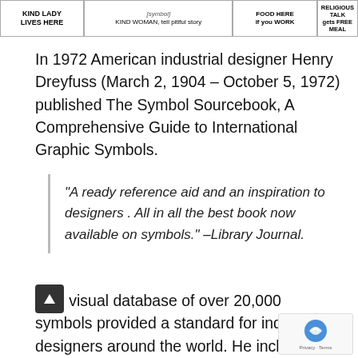[Figure (photo): Partial view of hobo sign cards/labels showing text such as 'KIND LADY LIVES HERE', 'KIND WOMAN, tell pitiful story', 'FOOD HERE if you WORK', 'RELIGIOUS TALK gets FREE MEAL']
In 1972 American industrial designer Henry Dreyfuss (March 2, 1904 – October 5, 1972) published The Symbol Sourcebook, A Comprehensive Guide to International Graphic Symbols.
“A ready reference aid and an inspiration to designers . All in all the best book now available on symbols.” –Library Journal.
This visual database of over 20,000 symbols provided a standard for industrial designers around the world. He included a collection of 60 hobo signs, used by ‘transient working class men and women who traveled by train to communicate